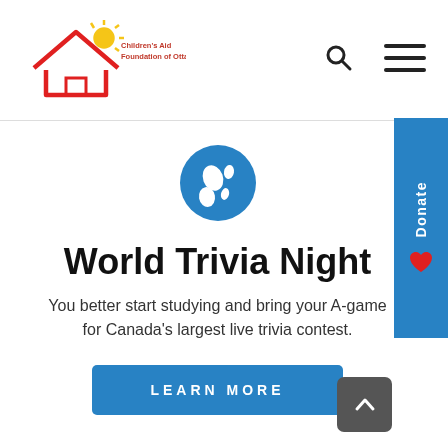[Figure (logo): Children's Aid Foundation of Ottawa logo — red house outline with yellow sun, text in red and blue: 'Children's Aid Foundation of Ottawa / La Fondation de l'aide à l'enfance d'Ottawa']
[Figure (illustration): Blue circular globe emoji icon showing Americas]
World Trivia Night
You better start studying and bring your A-game for Canada's largest live trivia contest.
[Figure (other): Blue 'LEARN MORE' button]